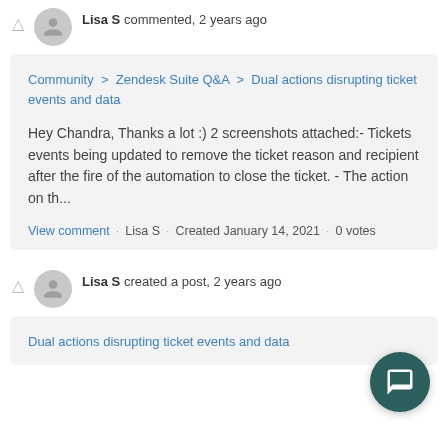Lisa S commented, 2 years ago
Community > Zendesk Suite Q&A > Dual actions disrupting ticket events and data
Hey Chandra, Thanks a lot :) 2 screenshots attached:- Tickets events being updated to remove the ticket reason and recipient after the fire of the automation to close the ticket. - The action on th...
View comment · Lisa S · Created January 14, 2021 · 0 votes
Lisa S created a post, 2 years ago
Dual actions disrupting ticket events and data
[Figure (illustration): Dark teal circular chat button with speech bubble icon]